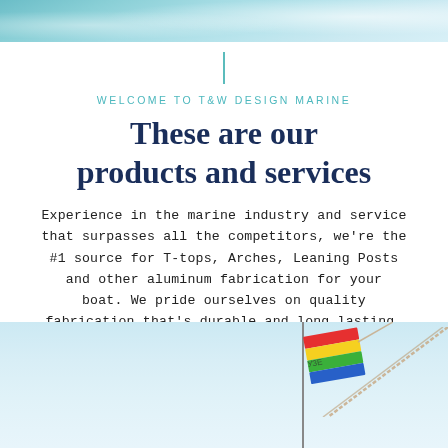[Figure (photo): Top banner photo of ocean water with turquoise/blue tones]
WELCOME TO T&W DESIGN MARINE
These are our products and services
Experience in the marine industry and service that surpasses all the competitors, we're the #1 source for T-tops, Arches, Leaning Posts and other aluminum fabrication for your boat. We pride ourselves on quality fabrication that's durable and long lasting.
[Figure (photo): Bottom photo showing a colorful flag (rainbow/yellow/red) on a pole with rope and light blue sky background]